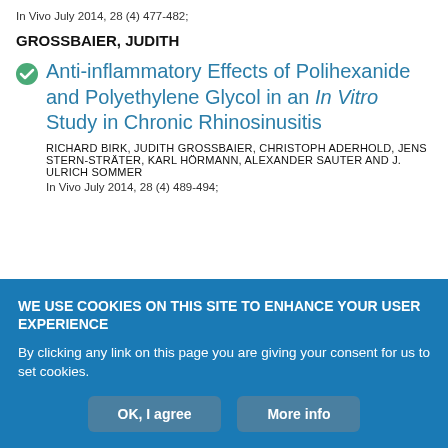In Vivo July 2014, 28 (4) 477-482;
GROSSBAIER, JUDITH
Anti-inflammatory Effects of Polihexanide and Polyethylene Glycol in an In Vitro Study in Chronic Rhinosinusitis
RICHARD BIRK, JUDITH GROSSBAIER, CHRISTOPH ADERHOLD, JENS STERN-STRÄTER, KARL HÖRMANN, ALEXANDER SAUTER and J. ULRICH SOMMER
In Vivo July 2014, 28 (4) 489-494;
WE USE COOKIES ON THIS SITE TO ENHANCE YOUR USER EXPERIENCE
By clicking any link on this page you are giving your consent for us to set cookies.